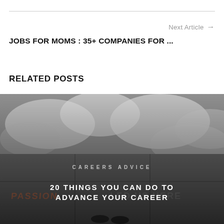Next Article →
JOBS FOR MOMS : 35+ COMPANIES FOR ...
RELATED POSTS
[Figure (photo): A person standing on tiled ground with text 'PASSION LED US HERE' visible on the tiles, viewed from above. Overlaid text reads 'CAREERS ADVICE' and below '20 THINGS YOU CAN DO TO ADVANCE YOUR CAREER'.]